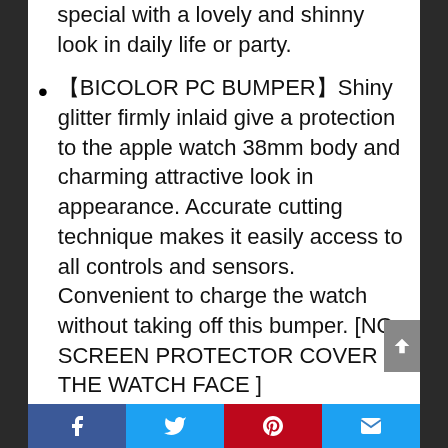special with a lovely and shinny look in daily life or party.
【BICOLOR PC BUMPER】Shiny glitter firmly inlaid give a protection to the apple watch 38mm body and charming attractive look in appearance. Accurate cutting technique makes it easily access to all controls and sensors. Convenient to charge the watch without taking off this bumper. [NO SCREEN PROTECTOR COVER THE WATCH FACE ]
【ONLY COMPATIBILITY 38MM】⚠NOTE⚠】Please check your watch